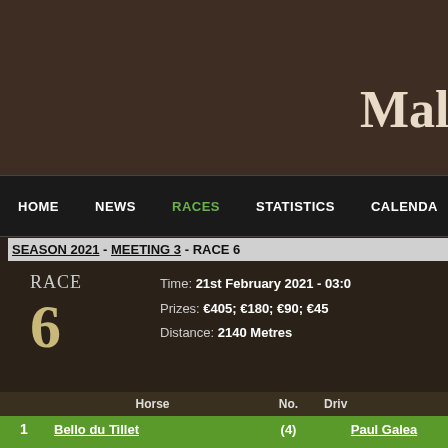MaltaRac
HOME | NEWS | RACES | STATISTICS | CALENDAR
SEASON 2021 - MEETING 3 - RACE 6
RACE 6
Time: 21st February 2021 - 03:0
Prizes: €405; €180; €90; €45
Distance: 2140 Metres
|  | Horse | No. | Driver |
| --- | --- | --- | --- |
| 1 | Bello du Tillet | (4) | Paul Galea |
| 2 | Bientot Jenilou | (6) | Rodney Gatt |
| 3 | Vivo Per Lei | (2) | Herman McKay |
| 4 | Baron du Chene | (10) | Jesmar Gafa |
| 5 | Flirt Fortuna | (1) | James Briffa |
| 6 | Venicio Bello | (11) | Anton Cassar |